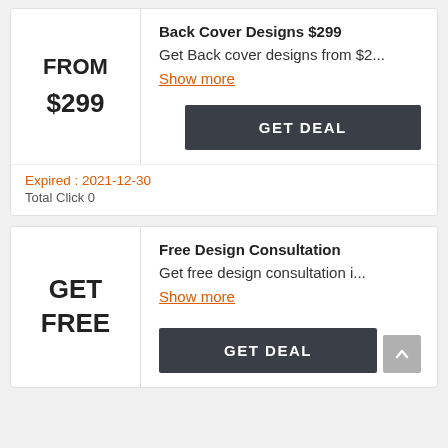FROM
$299
Back Cover Designs $299
Get Back cover designs from $2...
Show more
GET DEAL
Expired : 2021-12-30
Total Click 0
GET
FREE
Free Design Consultation
Get free design consultation i...
Show more
GET DEAL